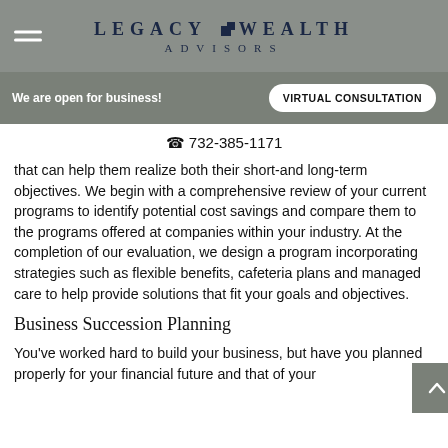LEGACY WEALTH ADVISORS
We are open for business!   VIRTUAL CONSULTATION
732-385-1171
that can help them realize both their short-and long-term objectives. We begin with a comprehensive review of your current programs to identify potential cost savings and compare them to the programs offered at companies within your industry. At the completion of our evaluation, we design a program incorporating strategies such as flexible benefits, cafeteria plans and managed care to help provide solutions that fit your goals and objectives.
Business Succession Planning
You've worked hard to build your business, but have you planned properly for your financial future and that of your